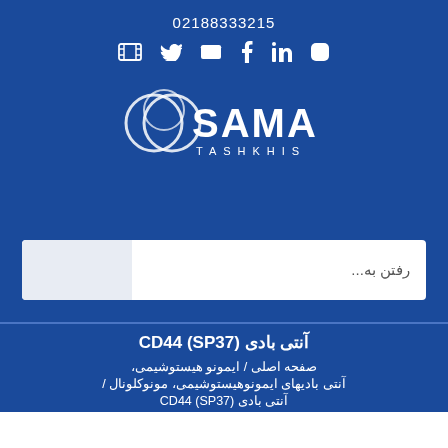02188333215
[Figure (logo): SAMA TASHKHIS logo — circular overlapping rings with SAMA text and TASHKHIS subtitle, white on dark blue background]
رفتن به...
آنتی بادی (SP37) CD44
صفحه اصلی / ایمونو هیستوشیمی،
آنتی بادیهای ایمونوهیستوشیمی، مونوکلونال /
آنتی بادی (SP37) CD44